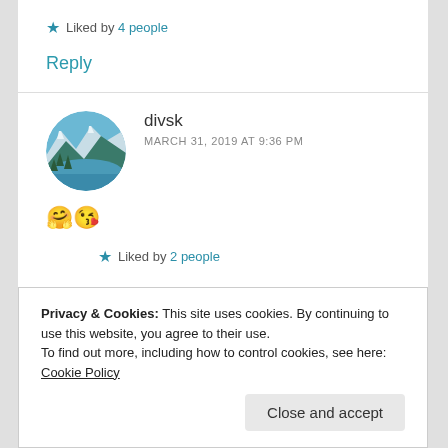★ Liked by 4 people
Reply
divsk
MARCH 31, 2019 AT 9:36 PM
[Figure (photo): Circular avatar photo of a mountain lake landscape with pine trees and snowy peaks]
🤗😘
★ Liked by 2 people
Privacy & Cookies: This site uses cookies. By continuing to use this website, you agree to their use. To find out more, including how to control cookies, see here: Cookie Policy
Close and accept